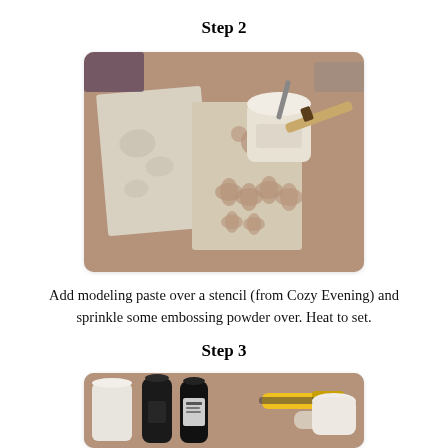Step 2
[Figure (photo): Craft supplies on a wooden table: stencil with floral and leaf cutout patterns, a tile or board covered in white modeling paste with embossed floral textures, a white jar of modeling paste with a spatula, and a wooden-handled palette knife.]
Add modeling paste over a stencil (from Cozy Evening) and sprinkle some embossing powder over. Heat to set.
Step 3
[Figure (photo): Craft supplies on a wooden table: small dark bottles of paint or ink, a white container, and a yellow-handled tool (scissors or cutter), partially visible at bottom of page.]